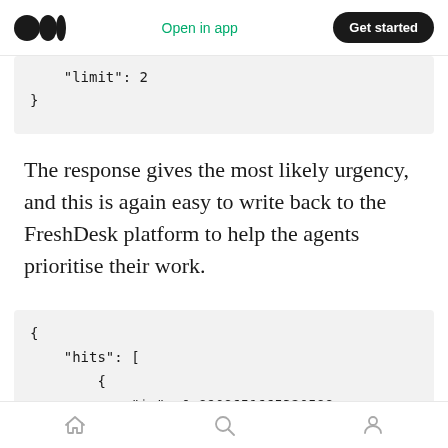Medium logo | Open in app | Get started
"limit": 2
}
The response gives the most likely urgency, and this is again easy to write back to the FreshDesk platform to help the agents prioritise their work.
{
    "hits": [
        {
            "$p": 0.8908651665320588,
            "feature": "2",
            "field": "urgency"
Home | Search | Profile